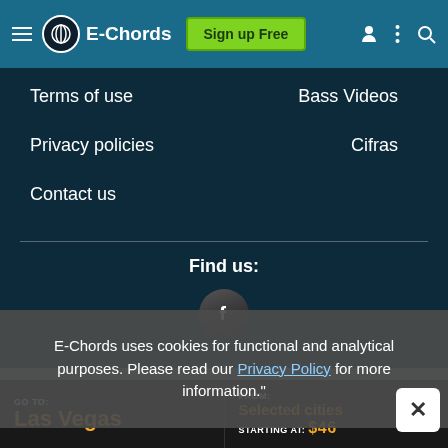E-Chords — Sign up Free
Terms of use
Bass Videos
Privacy policies
Cifras
Contact us
Find us:
E-Chords uses cookies for functional and analytical purposes. Please read our Privacy Policy for more information."
[Figure (advertisement): Travel advertisement: GO TO: Las Vegas | FROM: Selected cities STARTING AT: $46]